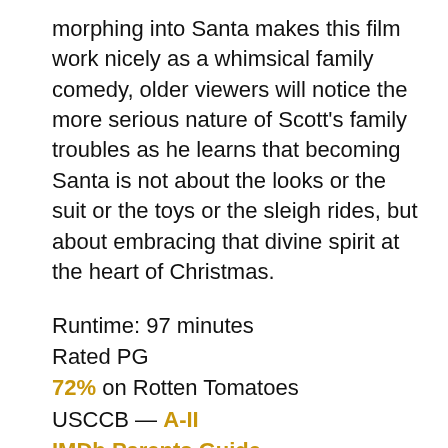morphing into Santa makes this film work nicely as a whimsical family comedy, older viewers will notice the more serious nature of Scott's family troubles as he learns that becoming Santa is not about the looks or the suit or the toys or the sleigh rides, but about embracing that divine spirit at the heart of Christmas.
Runtime: 97 minutes
Rated PG
72% on Rotten Tomatoes
USCCB — A-II
IMDb Parents Guide